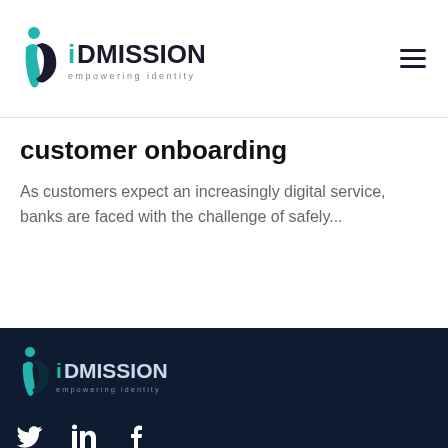[Figure (logo): IDmission logo with teal figure and dark text reading 'iDmission empowering identity']
customer onboarding
As customers expect an increasingly digital service, banks are faced with the challenge of safely...
[Figure (logo): IDmission logo repeated in footer on dark navy background]
[Figure (infographic): Social media icons: Twitter, LinkedIn, Facebook in white on dark navy background]
© 2022 IDmission LLC, all rights reserved